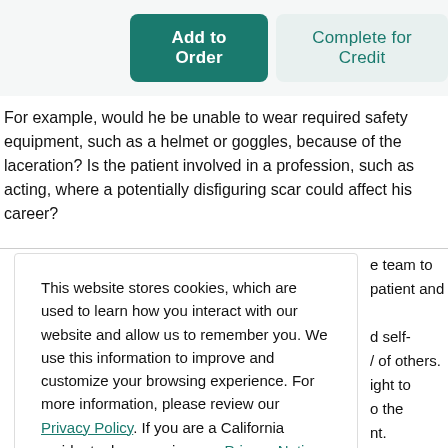[Figure (screenshot): Two buttons: 'Add to Order' (dark teal, filled) and 'Complete for Credit' (light teal, outlined/muted)]
For example, would he be unable to wear required safety equipment, such as a helmet or goggles, because of the laceration? Is the patient involved in a profession, such as acting, where a potentially disfiguring scar could affect his career?
This website stores cookies, which are used to learn how you interact with our website and allow us to remember you. We use this information to improve and customize your browsing experience. For more information, please review our Privacy Policy. If you are a California resident, please review our Privacy Notice for California Residents.
e team to patient and d self- / of others. ight to o the nt.
[Figure (screenshot): Accept button (dark teal, rounded rectangle) for cookie consent]
In their professional education, nurses and physicians are frequently taught to